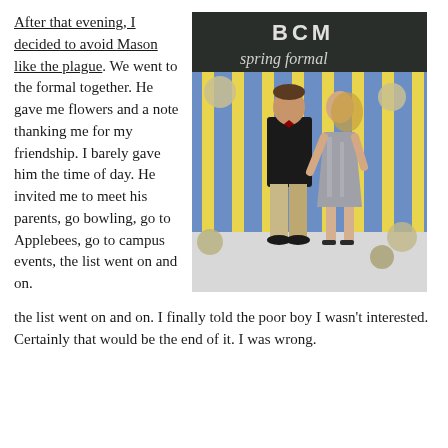After that evening, I decided to avoid Mason like the plague. We went to the formal together. He gave me flowers and a note thanking me for my friendship. I barely gave him the time of day. He invited me to meet his parents, go bowling, go to Applebees, go to campus events, the list went on and on. I finally told the poor boy I wasn't interested. Certainly that would be the end of it. I was wrong.
[Figure (photo): A man in a black shirt and khaki pants and a woman in a silver sequined dress pose together in front of a blue and yellow striped backdrop with balloons. A chalkboard sign reads 'BCM Spring Formal'.]